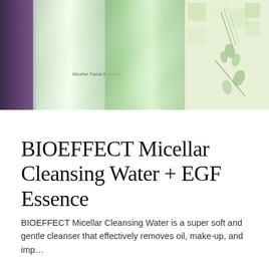[Figure (photo): Product photo showing BIOEFFECT skincare bottles including a Micellar Facial Essence bottle and other green-colored skincare product bottles, with a floral patterned background on the right side.]
BIOEFFECT Micellar Cleansing Water + EGF Essence
BIOEFFECT Micellar Cleansing Water is a super soft and gentle cleanser that effectively removes oil, make-up, and imp…